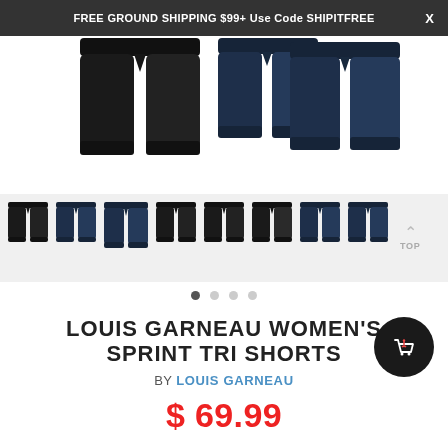FREE GROUND SHIPPING $99+ Use Code SHIPITFREE
[Figure (photo): Product photo of Louis Garneau Women's Sprint Tri Shorts showing one black pair and two navy blue pairs, displayed as shorts cut off at the waist, on white background. Below are 8 thumbnail images of the same shorts in black and navy colorways.]
LOUIS GARNEAU WOMEN'S SPRINT TRI SHORTS
BY LOUIS GARNEAU
$ 69.99